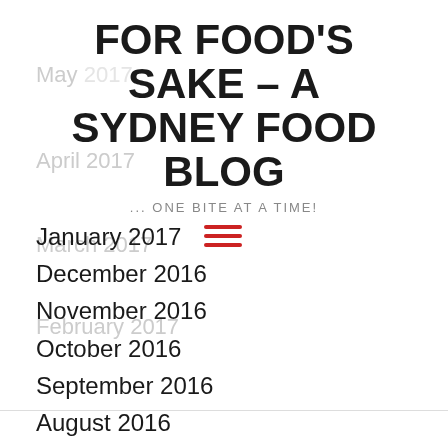FOR FOOD'S SAKE – A SYDNEY FOOD BLOG
... ONE BITE AT A TIME!
May 2017
April 2017
March 2017
February 2017
January 2017
December 2016
November 2016
October 2016
September 2016
August 2016
July 2016